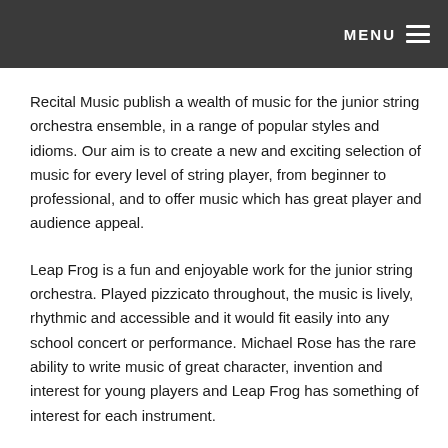MENU
Recital Music publish a wealth of music for the junior string orchestra ensemble, in a range of popular styles and idioms. Our aim is to create a new and exciting selection of music for every level of string player, from beginner to professional, and to offer music which has great player and audience appeal.
Leap Frog is a fun and enjoyable work for the junior string orchestra. Played pizzicato throughout, the music is lively, rhythmic and accessible and it would fit easily into any school concert or performance. Michael Rose has the rare ability to write music of great character, invention and interest for young players and Leap Frog has something of interest for each instrument.